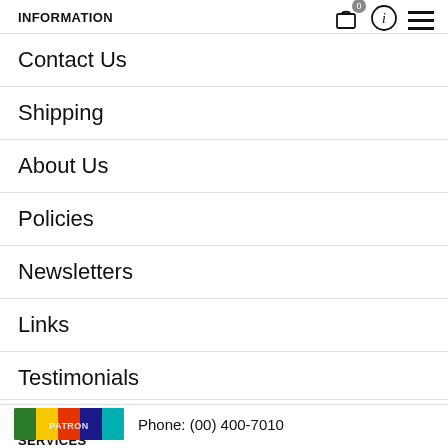INFORMATION
Contact Us
Shipping
About Us
Policies
Newsletters
Links
Testimonials
SERVICES
In-Store Working Studio
Classes & Workshops
Phone: (00) 400-7010